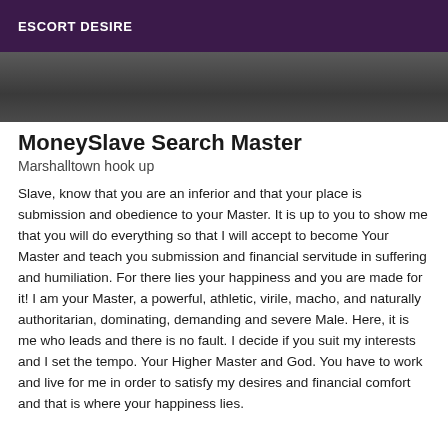ESCORT DESIRE
[Figure (photo): Dark grey gradient image area at top of content]
MoneySlave Search Master
Marshalltown hook up
Slave, know that you are an inferior and that your place is submission and obedience to your Master. It is up to you to show me that you will do everything so that I will accept to become Your Master and teach you submission and financial servitude in suffering and humiliation. For there lies your happiness and you are made for it! I am your Master, a powerful, athletic, virile, macho, and naturally authoritarian, dominating, demanding and severe Male. Here, it is me who leads and there is no fault. I decide if you suit my interests and I set the tempo. Your Higher Master and God. You have to work and live for me in order to satisfy my desires and financial comfort and that is where your happiness lies.